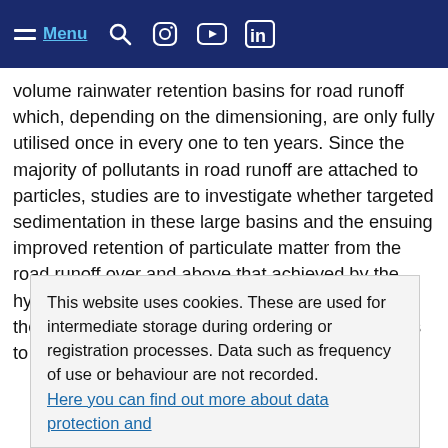Menu [navigation icons: search, instagram, youtube, linkedin]
volume rainwater retention basins for road runoff which, depending on the dimensioning, are only fully utilised once in every one to ten years. Since the majority of pollutants in road runoff are attached to particles, studies are to investigate whether targeted sedimentation in these large basins and the ensuing improved retention of particulate matter from the road runoff over and above that achieved by the hydraulic retention function significantly improves the material pollutant burden on waters. The aim is to examine whether it is also possible to achieve improved material retention for priority substances under the Water Framework Directive that occur in the road runoff. Proposals for converting existing basins and building new basins are to be derived from this, their efficiency in terms of material re[tention...]
This website uses cookies. These are used for intermediate storage during ordering or registration processes. Data such as frequency of use or behaviour are not recorded. Here you can find out more about data protection and